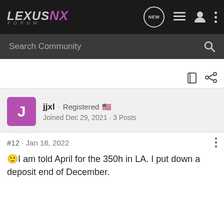LEXUS NX FORUM
Search Community
jjxl · Registered
Joined Dec 29, 2021 · 3 Posts
#12 · Jan 18, 2022
🙂I am told April for the 350h in LA. I put down a deposit end of December.